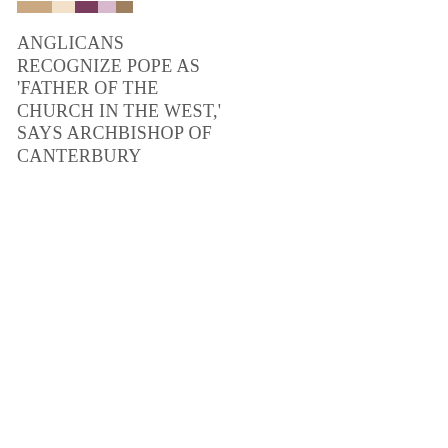[Figure (photo): A group photo showing several people, partially visible at the top of the page. Appears to show figures in formal or religious attire.]
ANGLICANS RECOGNIZE POPE AS 'FATHER OF THE CHURCH IN THE WEST,' SAYS ARCHBISHOP OF CANTERBURY